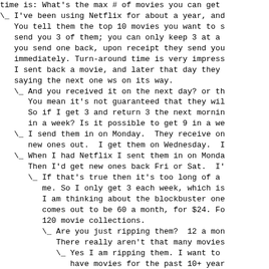time is: What's the max # of movies you can get
\_  I've been using Netflix for about a year, and
    You tell them the top 10 movies you want to s
    send you 3 of them; you can only keep 3 at a
    you send one back, upon receipt they send you
    immediately. Turn-around time is very impress
    I sent back a movie, and later that day they
    saying the next one ws on its way.
\_  And you received it on the next day? or th
    You mean it's not guaranteed that they will
    So if I get 3 and return 3 the next mornin
    in a week? Is it possible to get 9 in a we
\_  I send them in on Monday.  They receive on
    new ones out.  I get them on Wednesday.  I
\_  When I had Netflix I sent them in on Monda
    Then I'd get new ones back Fri or Sat.  I'
\_  If that's true then it's too long of a
    me. So I only get 3 each week, which is
    I am thinking about the blockbuster one
    comes out to be 60 a month, for $24. Fo
    120 movie collections.
\_  Are you just ripping them?  12 a mon
    There really aren't that many movies
\_  Yes I am ripping them. I want to
    have movies for the past 10+ year
    more run ripping them than watchi
2004/10/28-29 [Recreation/Media] UID:34406 Activity:moderate
10/28   Does anyone know how movie theaters pay movie ma
    that there is a base film price, and then some p
    sales, the percentage of which decreases over t